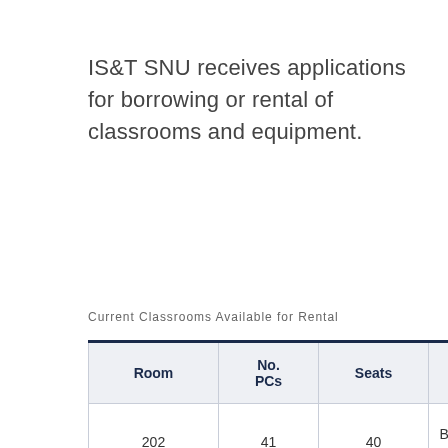IS&T SNU receives applications for borrowing or rental of classrooms and equipment.
Current Classrooms Available for Rental
| Room | No. PCs | Seats | Equipment |  |
| --- | --- | --- | --- | --- |
| 202 | 41 | 40 | Broadcasting equipment and projector | Cla… |